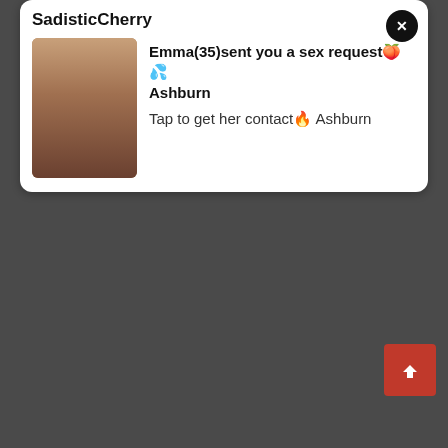SadisticCherry
[Figure (photo): Thumbnail photo of a woman]
Emma(35)sent you a sex request🍑💦 Ashburn
Tap to get her contact🔥 Ashburn